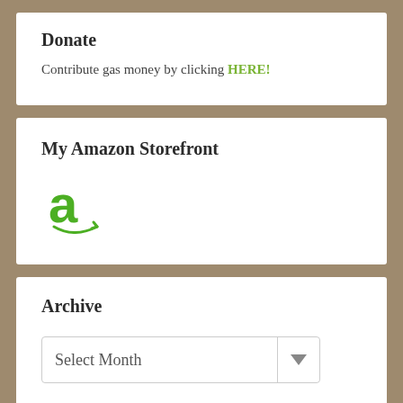Donate
Contribute gas money by clicking HERE!
My Amazon Storefront
[Figure (logo): Amazon logo - green letter 'a' with smile arrow beneath]
Archive
Select Month